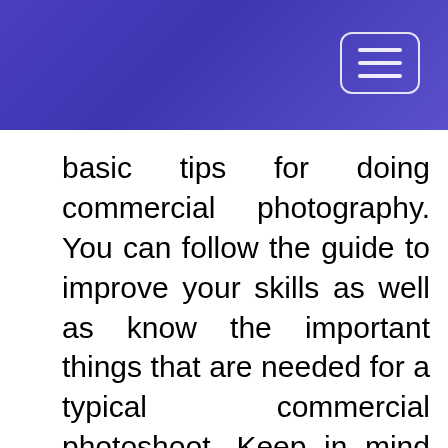[Figure (other): Blue/purple gradient header bar with a hamburger menu button (three horizontal lines) in the top right corner, inside a rounded rectangle border]
basic tips for doing commercial photography. You can follow the guide to improve your skills as well as know the important things that are needed for a typical commercial photoshoot. Keep in mind that commercial photos are meant to profit the client, so keep that in mind while doing the photoshoot.